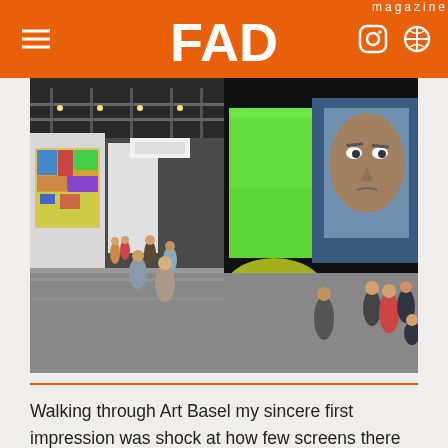FAD magazine
[Figure (photo): Two side-by-side photos from Art Basel: left shows an art fair interior with people walking past large colorful artwork on white walls in a large convention hall; right shows a large-scale digital portrait installation with green lit cube display and visitors viewing it in a dark space.]
Walking through Art Basel my sincere first impression was shock at how few screens there were. There's been so much talk about NFTs taking over the art world. There was certainly a presence, notably at the Tezos Booth